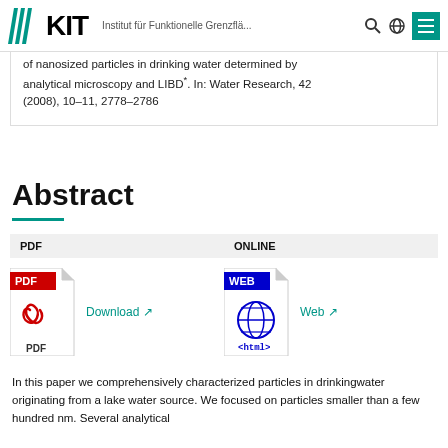KIT — Institut für Funktionelle Grenzflä...
of nanosized particles in drinking water determined by analytical microscopy and LIBD*. In: Water Research, 42 (2008), 10–11, 2778–2786
Abstract
[Figure (other): PDF download icon and Online/Web icon with download links]
In this paper we comprehensively characterized particles in drinkingwater originating from a lake water source. We focused on particles smaller than a few hundred nm. Several analytical